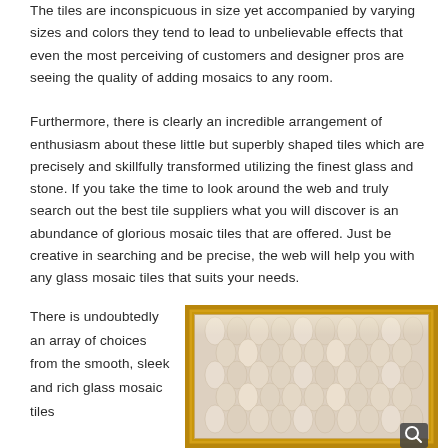The tiles are inconspicuous in size yet accompanied by varying sizes and colors they tend to lead to unbelievable effects that even the most perceiving of customers and designer pros are seeing the quality of adding mosaics to any room.

Furthermore, there is clearly an incredible arrangement of enthusiasm about these little but superbly shaped tiles which are precisely and skillfully transformed utilizing the finest glass and stone. If you take the time to look around the web and truly search out the best tile suppliers what you will discover is an abundance of glorious mosaic tiles that are offered. Just be creative in searching and be precise, the web will help you with any glass mosaic tiles that suits your needs.
There is undoubtedly an array of choices from the smooth, sleek and rich glass mosaic tiles
[Figure (photo): A decorative mosaic tile panel with a geometric/organic pattern in cream and gold tones, set in an ornate gold frame. The tile design shows repeating curved and angular shapes. A small magnifying glass icon appears in the bottom right corner.]